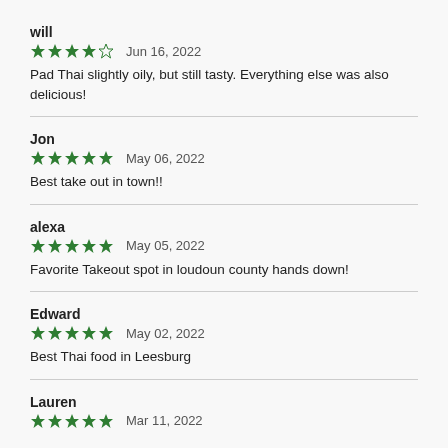will
★★★★☆  Jun 16, 2022
Pad Thai slightly oily, but still tasty. Everything else was also delicious!
Jon
★★★★★  May 06, 2022
Best take out in town!!
alexa
★★★★★  May 05, 2022
Favorite Takeout spot in loudoun county hands down!
Edward
★★★★★  May 02, 2022
Best Thai food in Leesburg
Lauren
★★★★★  Mar 11, 2022